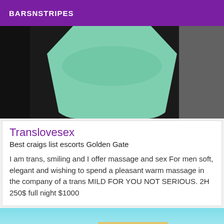BARSNSTRIPES
[Figure (photo): Photo of person wearing a mint/teal green shirt, dark background on left side, light grey on right side]
Translovesex
Best craigs list escorts Golden Gate
I am trans, smiling and I offer massage and sex For men soft, elegant and wishing to spend a pleasant warm massage in the company of a trans MILD FOR YOU NOT SERIOUS. 2H 250$ full night $1000
[Figure (photo): Partial photo showing a light blue sky and what appears to be a building or structure at the bottom]